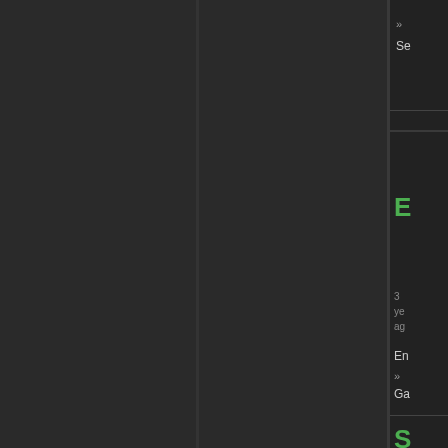[Figure (screenshot): Dark UI interface with a left panel split by a vertical divider, and a right sidebar showing truncated navigation/menu text items in white and green on dark background]
»
Se
E
3 years ago
En
»
Ga
S
1 years ago
An & Ma
»
Se